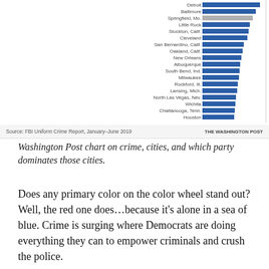[Figure (bar-chart): Cities by violent crime rate (partial list)]
Source: FBI Uniform Crime Report, January–June 2019   THE WASHINGTON POST
Washington Post chart on crime, cities, and which party dominates those cities.
Does any primary color on the color wheel stand out? Well, the red one does…because it's alone in a sea of blue. Crime is surging where Democrats are doing everything they can to empower criminals and crush the police.